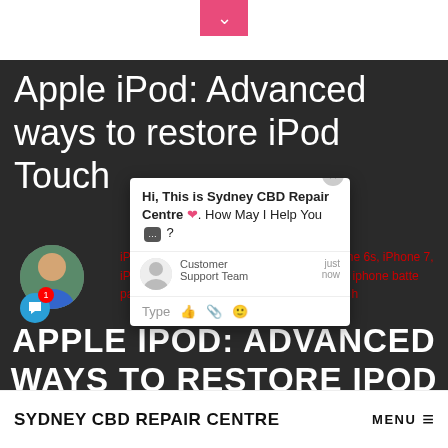[Figure (screenshot): Website screenshot showing a page from Sydney CBD Repair Centre about Apple iPod: Advanced ways to restore iPod Touch. Includes a chat widget popup, person avatar, tags in red text, and a large white title overlay on dark background. Bottom has site footer with logo and menu.]
Apple iPod: Advanced ways to restore iPod Touch
2018
iPod apple ipod, iPhone, iPhone 6, s, Iphone 6s, iPhone 7, iPhone 7 Plus, hone 8 Plus, iphone battery, iphone battery pair with apple watch, iphone screen repair h
[Figure (screenshot): Chat widget overlay: Hi, This is Sydney CBD Repair Centre. How May I Help You? Customer Support Team just now. Type input with icons.]
APPLE IPOD: ADVANCED WAYS TO RESTORE IPOD TOUCH
SYDNEY CBD REPAIR CENTRE MENU ≡